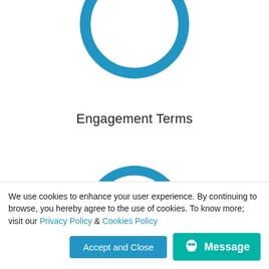[Figure (illustration): Blue circle ring (open circle icon), partially visible at top of page, centered]
Engagement Terms
[Figure (illustration): Blue circle ring (open circle icon), partially visible at bottom middle of page, centered]
We use cookies to enhance your user experience. By continuing to browse, you hereby agree to the use of cookies. To know more; visit our Privacy Policy & Cookies Policy
Accept and Close
Message